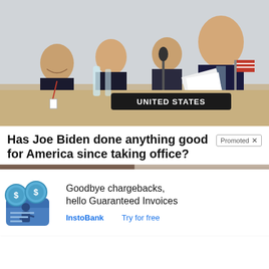[Figure (photo): Photo of Joe Biden at a conference table with 'UNITED STATES' placard, reviewing documents, with three other men seated behind him smiling]
Has Joe Biden done anything good for America since taking office?
Promoted ×
[Figure (photo): Two thumbnail photos side by side: left shows Donald Trump and Melania Trump with a video play button overlay; right shows Nancy Pelosi and Alexandria Ocasio-Cortez]
Goodbye chargebacks, hello Guaranteed Invoices
InstoBank    Try for free